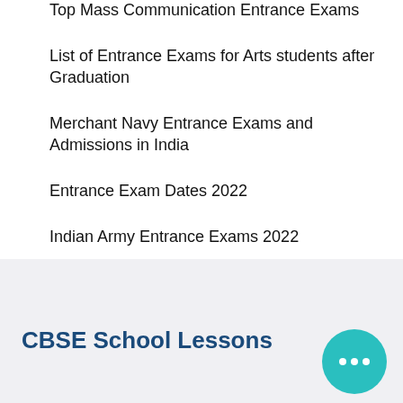Top Mass Communication Entrance Exams
List of Entrance Exams for Arts students after Graduation
Merchant Navy Entrance Exams and Admissions in India
Entrance Exam Dates 2022
Indian Army Entrance Exams 2022
CBSE School Lessons